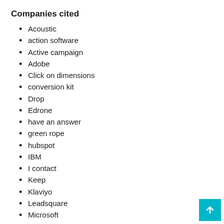Companies cited
Acoustic
action software
Active campaign
Adobe
Click on dimensions
conversion kit
Drop
Edrone
have an answer
green rope
hubspot
IBM
I contact
Keep
Klaviyo
Leadsquare
Microsoft